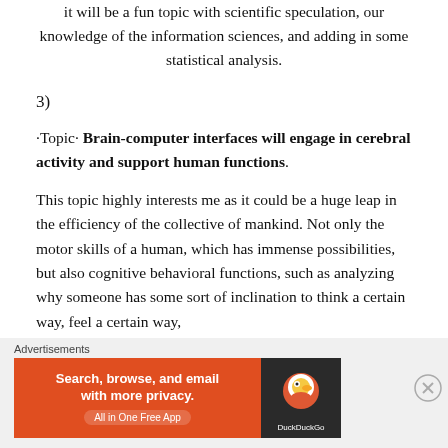it will be a fun topic with scientific speculation, our knowledge of the information sciences, and adding in some statistical analysis.
3)
-Topic- Brain-computer interfaces will engage in cerebral activity and support human functions.
This topic highly interests me as it could be a huge leap in the efficiency of the collective of mankind. Not only the motor skills of a human, which has immense possibilities, but also cognitive behavioral functions, such as analyzing why someone has some sort of inclination to think a certain way, feel a certain way,
[Figure (other): DuckDuckGo advertisement banner: orange left side with text 'Search, browse, and email with more privacy. All in One Free App', dark right side with DuckDuckGo duck logo]